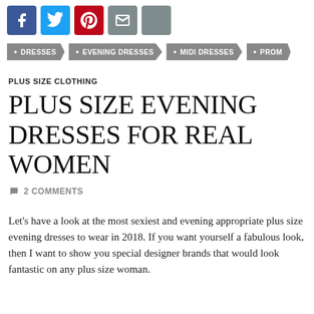[Figure (other): Social share icons row: Facebook (blue), Twitter (blue), Pinterest (red), Email (grey), Share/Plus (grey)]
DRESSES
EVENING DRESSES
MIDI DRESSES
PROM
PLUS SIZE CLOTHING
PLUS SIZE EVENING DRESSES FOR REAL WOMEN
2 COMMENTS
Let's have a look at the most sexiest and evening appropriate plus size evening dresses to wear in 2018. If you want yourself a fabulous look, then I want to show you special designer brands that would look fantastic on any plus size woman.